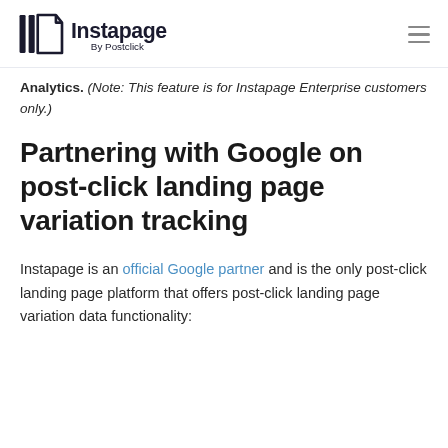Instapage By Postclick
Analytics. (Note: This feature is for Instapage Enterprise customers only.)
Partnering with Google on post-click landing page variation tracking
Instapage is an official Google partner and is the only post-click landing page platform that offers post-click landing page variation data functionality: